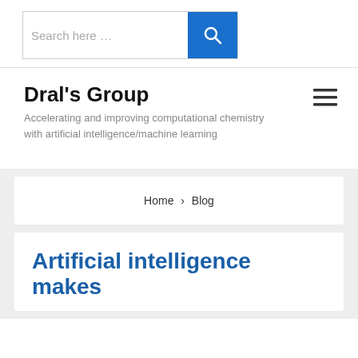[Figure (screenshot): Search box with placeholder text 'Search here …' and a blue search button with magnifying glass icon]
Dral's Group
Accelerating and improving computational chemistry with ​artificial intelligence/machine learning
[Figure (screenshot): Hamburger menu icon (three horizontal lines)]
Home › Blog
Artificial intelligence makes